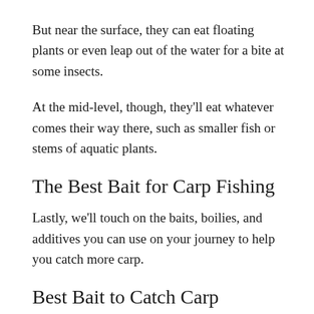But near the surface, they can eat floating plants or even leap out of the water for a bite at some insects.
At the mid-level, though, they'll eat whatever comes their way there, such as smaller fish or stems of aquatic plants.
The Best Bait for Carp Fishing
Lastly, we'll touch on the baits, boilies, and additives you can use on your journey to help you catch more carp.
Best Bait to Catch Carp
You can use hundreds of natural and artificial ingredients to make bait, and you can even combine some of them to spice up your bait more.